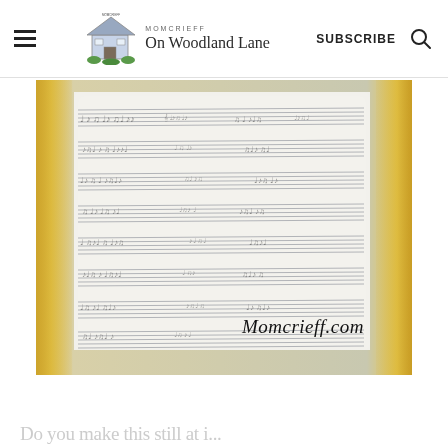On Woodland Lane | SUBSCRIBE
[Figure (photo): A glowing glass block with sheet music paper decoupaged onto it and a watermark reading Momcrieff.com, illuminated from within by warm LED lights.]
Do you make this still at i...